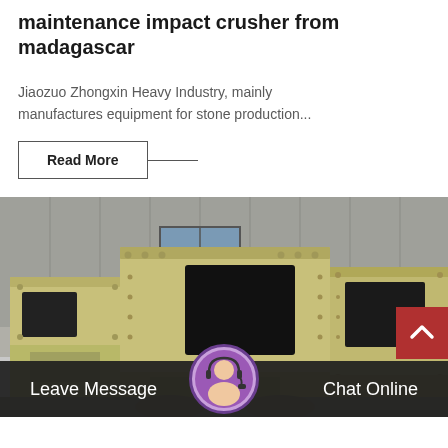maintenance impact crusher from madagascar
Jiaozuo Zhongxin Heavy Industry, mainly manufactures equipment for stone production...
Read More
[Figure (photo): Industrial impact crushers (beige/tan colored heavy machinery) lined up in a factory or outdoor yard, with a large dark panel visible on the front face of the central unit.]
Leave Message  Chat Online